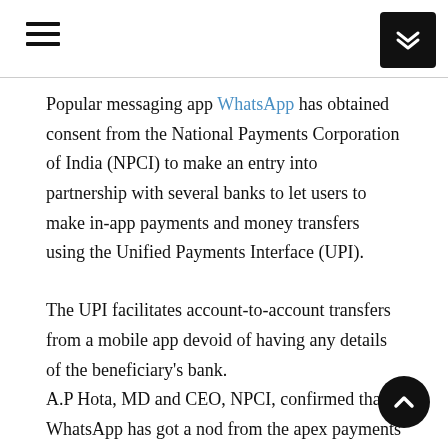Navigation header with hamburger menu and chevron button
Popular messaging app WhatsApp has obtained consent from the National Payments Corporation of India (NPCI) to make an entry into partnership with several banks to let users to make in-app payments and money transfers using the Unified Payments Interface (UPI).
The UPI facilitates account-to-account transfers from a mobile app devoid of having any details of the beneficiary's bank. A.P Hota, MD and CEO, NPCI, confirmed that WhatsApp has got a nod from the apex payments institution. It's been a while since Facebook-